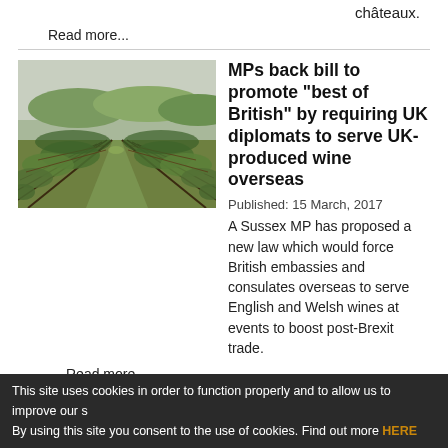châteaux.
Read more...
[Figure (photo): Vineyard rows of grapevines with green foliage stretching into the distance, with trees and hills in the background]
MPs back bill to promote "best of British" by requiring UK diplomats to serve UK-produced wine overseas
Published:  15 March, 2017
A Sussex MP has proposed a new law which would force British embassies and consulates overseas to serve English and Welsh wines at events to boost post-Brexit trade.
Read more...
« Previous 147 148 149 150 151 152 153 Next »
This site uses cookies in order to function properly and to allow us to improve our s By using this site you consent to the use of cookies. Find out more HERE